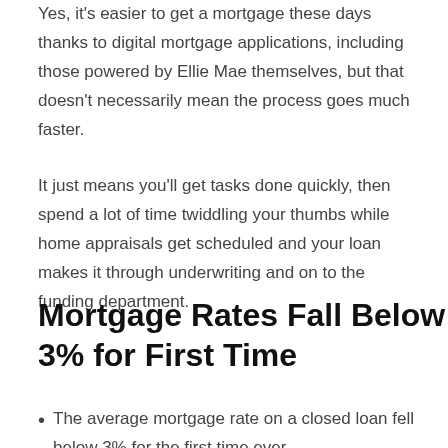Yes, it's easier to get a mortgage these days thanks to digital mortgage applications, including those powered by Ellie Mae themselves, but that doesn't necessarily mean the process goes much faster.
It just means you'll get tasks done quickly, then spend a lot of time twiddling your thumbs while home appraisals get scheduled and your loan makes it through underwriting and on to the funding department.
Mortgage Rates Fall Below 3% for First Time
The average mortgage rate on a closed loan fell below 3% for the first time ever.